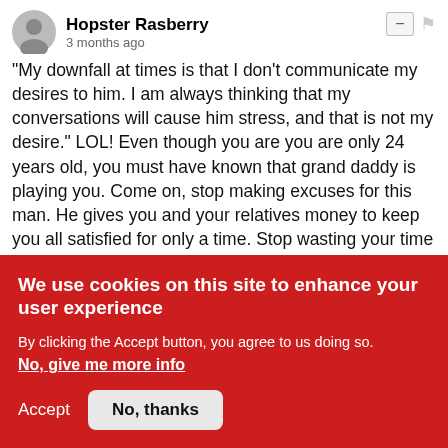Hopster Rasberry
3 months ago
"My downfall at times is that I don't communicate my desires to him. I am always thinking that my conversations will cause him stress, and that is not my desire." LOL! Even though you are you are only 24 years old, you must have known that grand daddy is playing you. Come on, stop making excuses for this man. He gives you and your relatives money to keep you all satisfied for only a time. Stop wasting your time and stop dating a man who can be your grand father.
Mike B
3 months ago
We use cookies on this site to enhance your user experience
By clicking the Accept button, you agree to us doing so.
No, give me more info
Accept
No, thanks